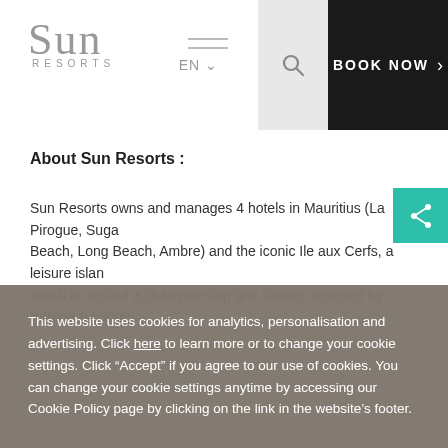Sun Resorts
About Sun Resorts :
Sun Resorts owns and manages 4 hotels in Mauritius (La Pirogue, Sugar Beach, Long Beach, Ambre) and the iconic Ile aux Cerfs, a leisure island which is nestled a championship golf course designed by Bernhard Langer...
This website uses cookies for analytics, personalisation and advertising. Click here to learn more or to change your cookie settings. Click “Accept” if you agree to our use of cookies. You can change your cookie settings anytime by accessing our Cookie Policy page by clicking on the link in the website’s footer.
Accept
> Personalize